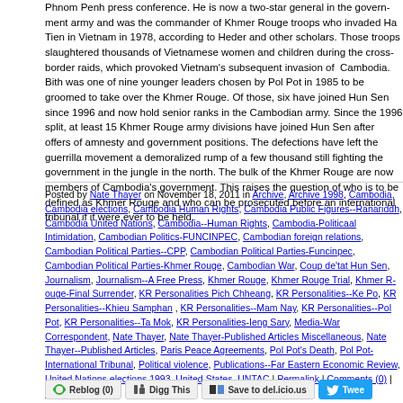Phnom Penh press conference. He is now a two-star general in the government army and was the commander of Khmer Rouge troops who invaded Ha Tien in Vietnam in 1978, according to Heder and other scholars. Those troops slaughtered thousands of Vietnamese women and children during the cross-border raids, which provoked Vietnam's subsequent invasion of Cambodia. Bith was one of nine younger leaders chosen by Pol Pot in 1985 to be groomed to take over the Khmer Rouge. Of those, six have joined Hun Sen since 1996 and now hold senior ranks in the Cambodian army. Since the 1996 split, at least 15 Khmer Rouge army divisions have joined Hun Sen after offers of amnesty and government positions. The defections have left the guerrilla movement a demoralized rump of a few thousand still fighting the government in the jungle in the north. The bulk of the Khmer Rouge are now members of Cambodia's government. This raises the question of who is to be defined as Khmer Rouge and who can be prosecuted before an international tribunal if it were ever to be held.
Posted by Nate Thayer on November 18, 2011 in Archive, Archive 1998, Cambodia, Cambodia elections, Cambodia Human Rights, Cambodia Public Figures--Ranariddh, Cambodia United Nations, Cambodia--Human Rights, Cambodia-Politicaal Intimidation, Cambodian Political Parties-FUNCINPEC, Cambodian foreign relations, Cambodian Political Parties--CPP, Cambodian Political Parties-Funcinpec, Cambodian Political Parties-Khmer Rouge, Cambodian War, Coup de'tat Hun Sen, Journalism, Journalism--A Free Press, Khmer Rouge, Khmer Rouge Trial, Khmer Rouge-Final Surrender, KR Personalities Pich Chheang, KR Personalities--Ke Po, KR Personalities--Khieu Samphan, KR Personalities--Mam Nay, KR Personalities--Pol Pot, KR Personalities--Ta Mok, KR Personalities-Ieng Sary, Media-War Correspondent, Nate Thayer, Nate Thayer-Published Articles Miscellaneous, Nate Thayer--Published Articles, Paris Peace Agreements, Pol Pot's Death, Pol Pot-International Tribunal, Political violence, Publications--Far Eastern Economic Review, United Nations elections 1993, United States, UNTAC | Permalink | Comments (0) | Trackback
Tags: Cambodia, Cambodia coup 1997, Cambodia CPP, Cambodia Funcinpec, Cambodia human rights, Cambodia Pol Pot, Cambodia trial Khmer Rouge, Cambodia war, Economic Review, Hun Sen, Ieng Sary, Journalism, Keo Pok, Khmer Rouge, Khmer Rouge, Mam Nay, Nate Thayer, Pech Chheang, Ranariddh, Ranariddh, Sam Bith, UN tribunal Khmer Rouge Cambodia